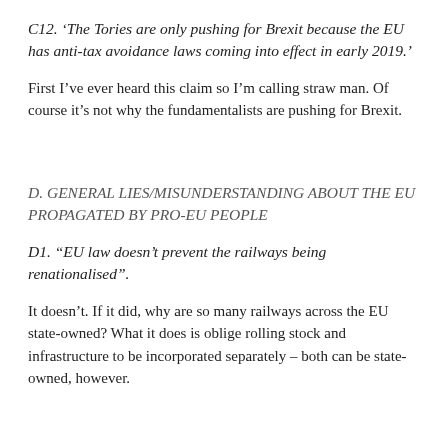C12. 'The Tories are only pushing for Brexit because the EU has anti-tax avoidance laws coming into effect in early 2019.'
First I've ever heard this claim so I'm calling straw man. Of course it's not why the fundamentalists are pushing for Brexit.
D. GENERAL LIES/MISUNDERSTANDING ABOUT THE EU PROPAGATED BY PRO-EU PEOPLE
D1. "EU law doesn't prevent the railways being renationalised".
It doesn't. If it did, why are so many railways across the EU state-owned? What it does is oblige rolling stock and infrastructure to be incorporated separately – both can be state-owned, however.